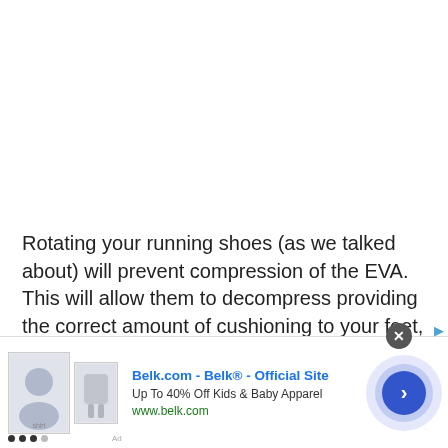Rotating your running shoes (as we talked about) will prevent compression of the EVA. This will allow them to decompress providing the correct amount of cushioning to your feet, lower legs, hips, and the rest of the body.
[Figure (other): Advertisement banner for Belk.com showing clothing images, ad title 'Belk.com - Belk® - Official Site', subtitle 'Up To 40% Off Kids & Baby Apparel', URL 'www.belk.com', and a circular blue arrow button on the right.]